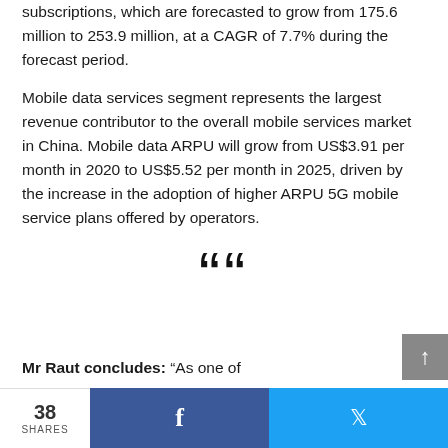subscriptions, which are forecasted to grow from 175.6 million to 253.9 million, at a CAGR of 7.7% during the forecast period.
Mobile data services segment represents the largest revenue contributor to the overall mobile services market in China. Mobile data ARPU will grow from US$3.91 per month in 2020 to US$5.52 per month in 2025, driven by the increase in the adoption of higher ARPU 5G mobile service plans offered by operators.
[Figure (other): Large decorative opening quotation mark symbol]
Mr Raut concludes: “As one of
38 SHARES  [Facebook share button]  [Twitter share button]